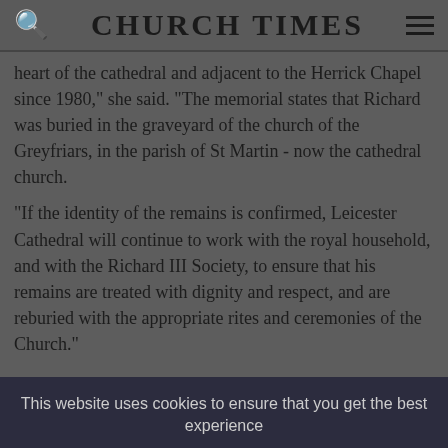CHURCH TIMES
heart of the cathedral and adjacent to the Herrick Chapel since 1980," she said. "The memorial states that Richard was buried in the graveyard of the church of the Greyfriars, in the parish of St Martin - now the cathedral church.
"If the identity of the remains is confirmed, Leicester Cathedral will continue to work with the royal household, and with the Richard III Society, to ensure that his remains are treated with dignity and respect, and are reburied with the appropriate rites and ceremonies of the Church."
This website uses cookies to ensure that you get the best experience
OK
View Privacy Policy